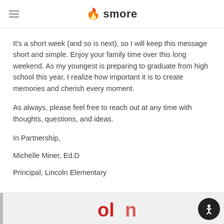smore
It's a short week (and so is next), so I will keep this message short and simple. Enjoy your family time over this long weekend. As my youngest is preparing to graduate from high school this year, I realize how important it is to create memories and cherish every moment.
As always, please feel free to reach out at any time with thoughts, questions, and ideas.
In Partnership,
Michelle Miner, Ed.D
Principal, Lincoln Elementary
[Figure (photo): Partial view of a school or organization logo/image at the bottom of the page, partially cut off]